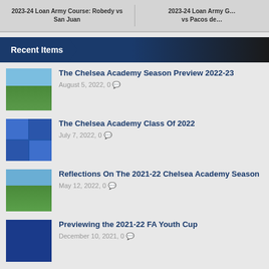2023-24 Loan Army Course: Robedy vs San Juan | 2023-24 Loan Army G vs Pacos de
Recent Items
[Figure (photo): Soccer field photo thumbnail]
The Chelsea Academy Season Preview 2022-23
August 5, 2022, 0
[Figure (photo): Team photo collage thumbnail]
The Chelsea Academy Class Of 2022
July 7, 2022, 0
[Figure (photo): Soccer field photo thumbnail]
Reflections On The 2021-22 Chelsea Academy Season
May 12, 2022, 0
[Figure (photo): Celebration photo thumbnail]
Previewing the 2021-22 FA Youth Cup
December 10, 2021, 0
[Figure (photo): Misty/foggy photo thumbnail]
State of Play: Reflections on the Chelsea Academy